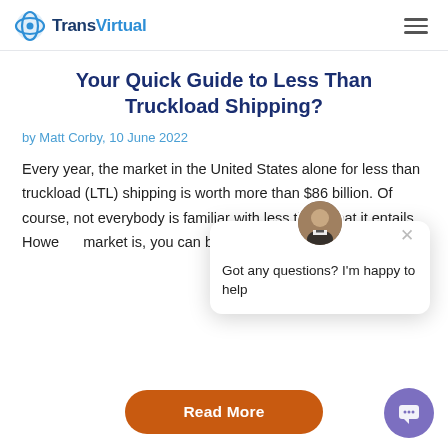TransVirtual
Your Quick Guide to Less Than Truckload Shipping?
by Matt Corby, 10 June 2022
Every year, the market in the United States alone for less than truckload (LTL) shipping is worth more than $86 billion. Of course, not everybody is familiar with less tha... what it entails. Howe... market is, you can be...
[Figure (illustration): Chat popup with avatar photo of a man in a tuxedo and text: Got any questions? I'm happy to help]
Read More